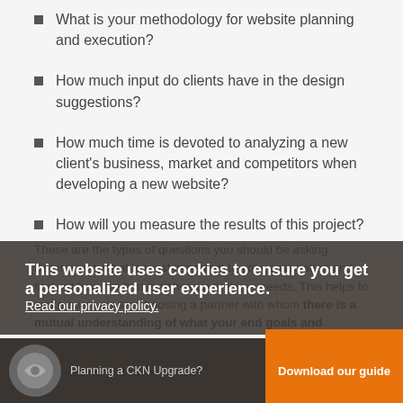What is your methodology for website planning and execution?
How much input do clients have in the design suggestions?
How much time is devoted to analyzing a new client's business, market and competitors when developing a new website?
How will you measure the results of this project?
These are the types of questions you should be asking. Determining what is most important to your association and find out how the firm matches up to those needs. This helps to make sure you are choosing a partner with whom there is a mutual understanding of what your end goals and
This website uses cookies to ensure you get a personalized user experience. Read our privacy policy.
[Figure (other): Bottom bar with logo, text 'Planning a CNN Upgrade?' and orange 'Download our guide' button]